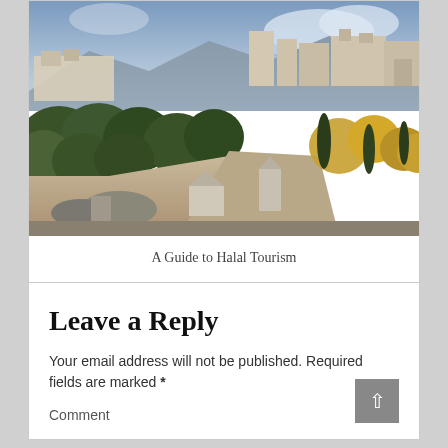[Figure (photo): Aerial view of the Alhambra palace and fortress complex in Granada, Spain, surrounded by trees and rocky terrain, with mountains in the background under a cloudy sky.]
A Guide to Halal Tourism
Leave a Reply
Your email address will not be published. Required fields are marked *
Comment